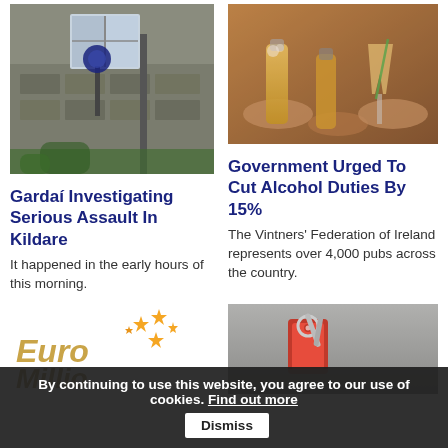[Figure (photo): Exterior view of a stone building with a blue Garda police lamp on the wall]
Gardaí Investigating Serious Assault In Kildare
It happened in the early hours of this morning.
[Figure (photo): Hands clinking beer bottles and cocktail glasses together in a toast]
Government Urged To Cut Alcohol Duties By 15%
The Vintners' Federation of Ireland represents over 4,000 pubs across the country.
[Figure (logo): EuroMillions lottery logo with gold stars]
[Figure (photo): Red house key fob with keys on a grey surface]
By continuing to use this website, you agree to our use of cookies. Find out more  Dismiss